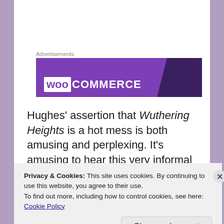Advertisements
[Figure (logo): WooCommerce advertisement banner with purple background and white WooCommerce logo text]
Hughes' assertion that Wuthering Heights is a hot mess is both amusing and perplexing. It's amusing to hear this very informal 21st century term applied to Emily's work, and it is perplexing because I feel that Hughes has rather missed the point of the
Privacy & Cookies: This site uses cookies. By continuing to use this website, you agree to their use.
To find out more, including how to control cookies, see here: Cookie Policy
Close and accept